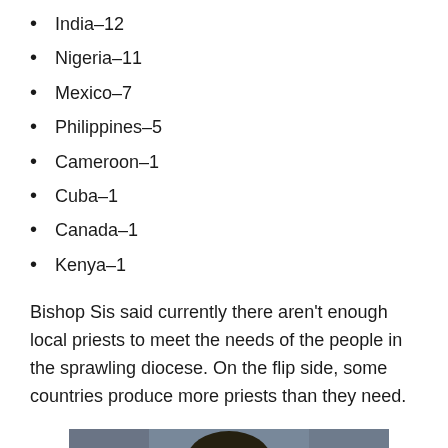India–12
Nigeria–11
Mexico–7
Philippines–5
Cameroon–1
Cuba–1
Canada–1
Kenya–1
Bishop Sis said currently there aren't enough local priests to meet the needs of the people in the sprawling diocese. On the flip side, some countries produce more priests than they need.
[Figure (photo): Portrait photo of a man, cropped at the top of the page, showing head and partial shoulders against a gray background]